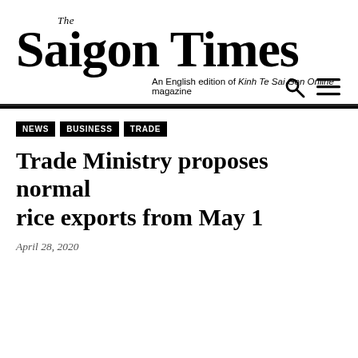[Figure (logo): The Saigon Times newspaper logo with tagline 'An English edition of Kinh Te Sai Gon Online magazine']
NEWS
BUSINESS
TRADE
Trade Ministry proposes normal rice exports from May 1
April 28, 2020